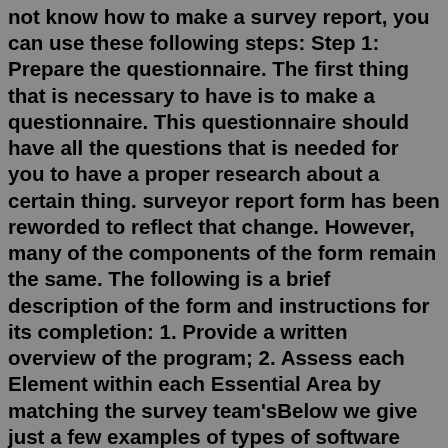not know how to make a survey report, you can use these following steps: Step 1: Prepare the questionnaire. The first thing that is necessary to have is to make a questionnaire. This questionnaire should have all the questions that is needed for you to have a proper research about a certain thing. surveyor report form has been reworded to reflect that change. However, many of the components of the form remain the same. The following is a brief description of the form and instructions for its completion: 1. Provide a written overview of the program; 2. Assess each Element within each Essential Area by matching the survey team'sBelow we give just a few examples of types of software you could use to analyze survey data. Of course, these are just a few examples to illustrate the types of functions you could employ. 1. Thematic software. As an example, with Thematic's software solution you can identify trends in sentiment and particular themes.Jun 04, 2020 · Step 4 – Beautify Your Survey. After adding the required form field to your survey, the next step is to make it attractive to